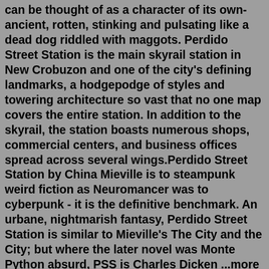can be thought of as a character of its own- ancient, rotten, stinking and pulsating like a dead dog riddled with maggots. Perdido Street Station is the main skyrail station in New Crobuzon and one of the city's defining landmarks, a hodgepodge of styles and towering architecture so vast that no one map covers the entire station. In addition to the skyrail, the station boasts numerous shops, commercial centers, and business offices spread across several wings.Perdido Street Station by China Mieville is to steampunk weird fiction as Neuromancer was to cyberpunk - it is the definitive benchmark. An urbane, nightmarish fantasy, Perdido Street Station is similar to Mieville's The City and the City; but where the later novel was Monte Python absurd, PSS is Charles Dicken ...more 198 likes · Like · see reviewThe moths finally converge on Perdido Street Station and the battle unfolds between Isaac's team and the monsters. By utilising the crisis engine, they manage to kill all but one moth, who eventually returns to its original home in Motley's attic, exactly